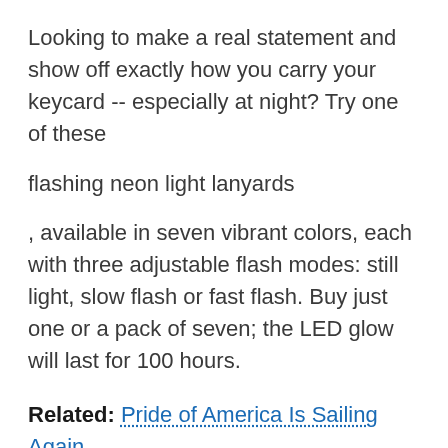Looking to make a real statement and show off exactly how you carry your keycard -- especially at night? Try one of these
flashing neon light lanyards
, available in seven vibrant colors, each with three adjustable flash modes: still light, slow flash or fast flash. Buy just one or a pack of seven; the LED glow will last for 100 hours.
Related: Pride of America Is Sailing Again. Live From Norwegian Cruise Line in Hawaii